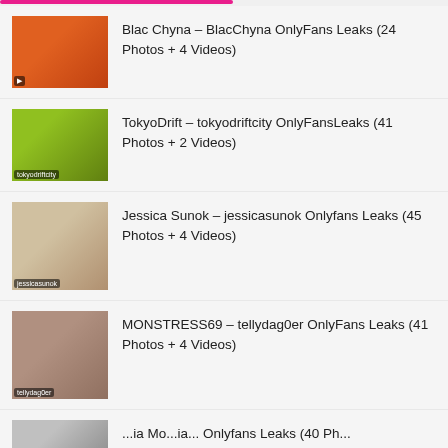Blac Chyna – BlacChyna OnlyFans Leaks (24 Photos + 4 Videos)
TokyoDrift – tokyodriftcity OnlyFansLeaks (41 Photos + 2 Videos)
Jessica Sunok – jessicasunok Onlyfans Leaks (45 Photos + 4 Videos)
MONSTRESS69 – tellydag0er OnlyFans Leaks (41 Photos + 4 Videos)
...ia Mo...ia... Onlyfans Leaks (40 Ph...